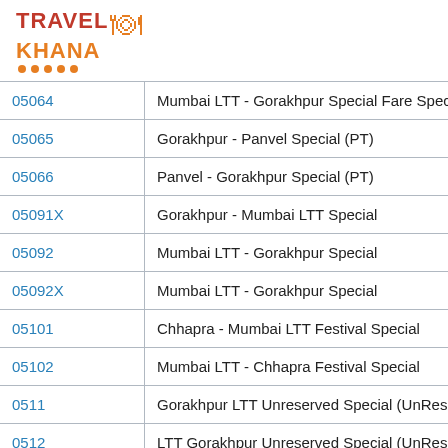[Figure (logo): TravelKhana logo with chef hat icon and orange dots]
| Train Number | Train Name |
| --- | --- |
| 05064 | Mumbai LTT - Gorakhpur Special Fare Spec |
| 05065 | Gorakhpur - Panvel Special (PT) |
| 05066 | Panvel - Gorakhpur Special (PT) |
| 05091X | Gorakhpur - Mumbai LTT Special |
| 05092 | Mumbai LTT - Gorakhpur Special |
| 05092X | Mumbai LTT - Gorakhpur Special |
| 05101 | Chhapra - Mumbai LTT Festival Special |
| 05102 | Mumbai LTT - Chhapra Festival Special |
| 0511 | Gorakhpur LTT Unreserved Special (UnRese |
| 0512 | LTT Gorakhpur Unreserved Special (UnRese |